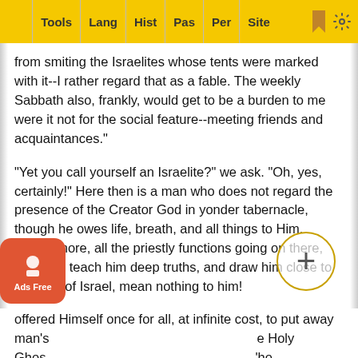Tools | Lang | Hist | Pas | Per | Site
from smiting the Israelites whose tents were marked with it--I rather regard that as a fable. The weekly Sabbath also, frankly, would get to be a burden to me were it not for the social feature--meeting friends and acquaintances."
"Yet you call yourself an Israelite?" we ask. "Oh, yes, certainly!" Here then is a man who does not regard the presence of the Creator God in yonder tabernacle, though he owes life, breath, and all things to Him. Furthermore, all the priestly functions going on there, meant to teach him deep truths, and draw him close to the God of Israel, mean nothing to him!
Alas, it is so in the professing church! There is a great priesthood being exercised in Heaven. Sacrifices are no longer being offered up, because the Son of God and Son of Man offered Himself once for all, at infinite cost, to put away man's ... the Holy Ghost ... who